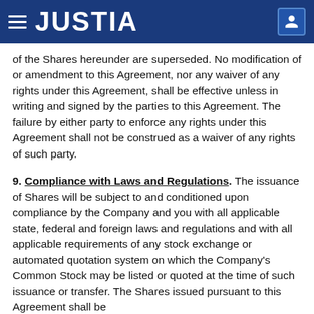JUSTIA
of the Shares hereunder are superseded. No modification of or amendment to this Agreement, nor any waiver of any rights under this Agreement, shall be effective unless in writing and signed by the parties to this Agreement. The failure by either party to enforce any rights under this Agreement shall not be construed as a waiver of any rights of such party.
9. Compliance with Laws and Regulations. The issuance of Shares will be subject to and conditioned upon compliance by the Company and you with all applicable state, federal and foreign laws and regulations and with all applicable requirements of any stock exchange or automated quotation system on which the Company's Common Stock may be listed or quoted at the time of such issuance or transfer. The Shares issued pursuant to this Agreement shall be